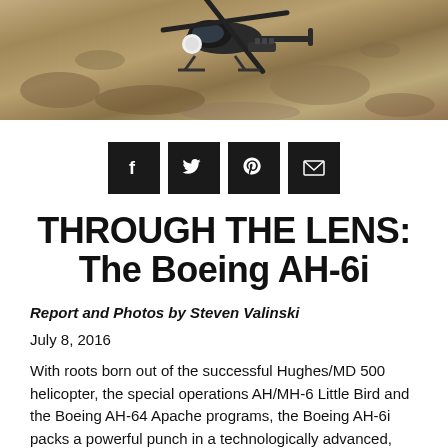[Figure (photo): Overhead/close-up shot of a Boeing AH-6i helicopter armed with weapons systems, flying over arid desert terrain]
[Figure (infographic): Social media sharing buttons: Facebook, Twitter, Pinterest, Email — black square buttons in a row]
THROUGH THE LENS: The Boeing AH-6i
Report and Photos by Steven Valinski
July 8, 2016
With roots born out of the successful Hughes/MD 500 helicopter, the special operations AH/MH-6 Little Bird and the Boeing AH-64 Apache programs, the Boeing AH-6i packs a powerful punch in a technologically advanced, lightweight package that is affordable by current defense standards.